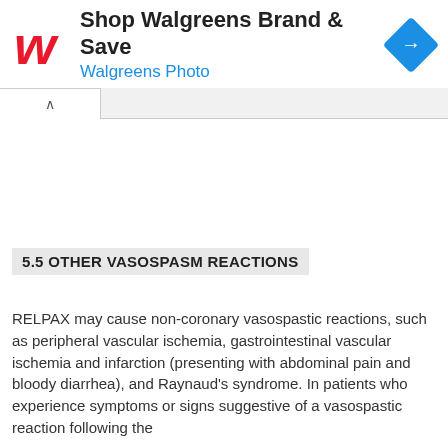[Figure (other): Walgreens advertisement banner with Walgreens logo (red stylized W), text 'Shop Walgreens Brand & Save' and 'Walgreens Photo' in blue, and a blue diamond navigation icon on the right.]
5.5 OTHER VASOSPASM REACTIONS
RELPAX may cause non-coronary vasospastic reactions, such as peripheral vascular ischemia, gastrointestinal vascular ischemia and infarction (presenting with abdominal pain and bloody diarrhea), and Raynaud's syndrome. In patients who experience symptoms or signs suggestive of a vasospastic reaction following the